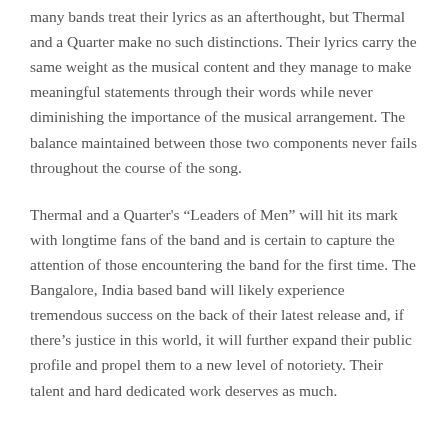many bands treat their lyrics as an afterthought, but Thermal and a Quarter make no such distinctions. Their lyrics carry the same weight as the musical content and they manage to make meaningful statements through their words while never diminishing the importance of the musical arrangement. The balance maintained between those two components never fails throughout the course of the song.
Thermal and a Quarter's “Leaders of Men” will hit its mark with longtime fans of the band and is certain to capture the attention of those encountering the band for the first time. The Bangalore, India based band will likely experience tremendous success on the back of their latest release and, if there’s justice in this world, it will further expand their public profile and propel them to a new level of notoriety. Their talent and hard dedicated work deserves as much.